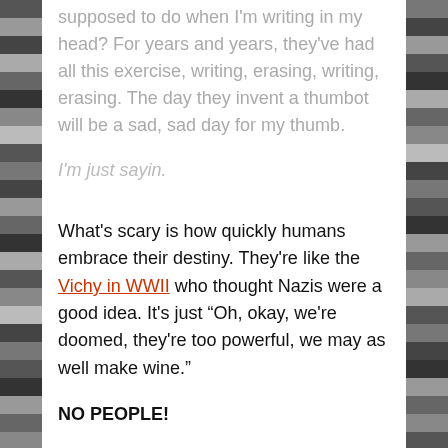supposed to do when I'm writing in my head? For years and years, they've had all this exercise, writing, erasing, writing, erasing. The day they invent a thumbot will be a sad, sad day for my thumb.
I'm just sayin.
What's scary is how quickly humans embrace their destiny. They're like the Vichy in WWII who thought Nazis were a good idea. It's just “Oh, okay, we're doomed, they're too powerful, we may as well make wine.”
NO PEOPLE!